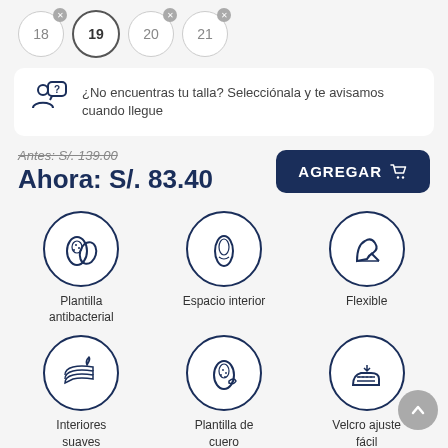[Figure (screenshot): Size selector circles showing sizes 18 (with X badge), 19 (selected/highlighted), 20 (with X badge), 21 (with X badge)]
¿No encuentras tu talla? Selecciónala y te avisamos cuando llegue
Antes: S/. 139.00
Ahora: S/. 83.40
[Figure (illustration): Button: AGREGAR with cart icon, dark navy background]
[Figure (illustration): Circular icon: Plantilla antibacterial - shoe insole icon]
Plantilla antibacterial
[Figure (illustration): Circular icon: Espacio interior - shoe sole icon]
Espacio interior
[Figure (illustration): Circular icon: Flexible - flexible shoe icon]
Flexible
[Figure (illustration): Circular icon: Interiores suaves - shoe with leaf icon]
Interiores suaves
[Figure (illustration): Circular icon: Plantilla de cuero - leather insole icon]
Plantilla de cuero
[Figure (illustration): Circular icon: Velcro ajuste fácil - velcro shoe icon]
Velcro ajuste fácil